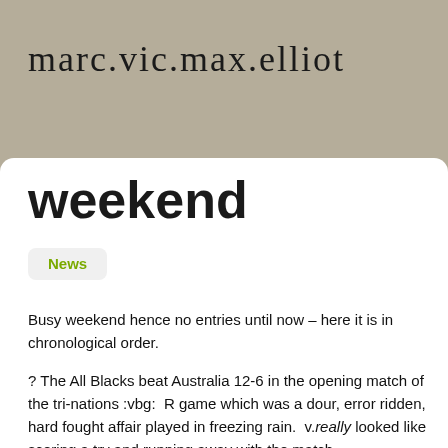marc.vic.max.elliot
weekend
News
Busy weekend hence no entries until now – here it is in chronological order.
? The All Blacks beat Australia 12-6 in the opening match of the tri-nations :vbg:  game which was a dour, error ridden, hard fought affair played in freezing rain.  v. really looked like scoring a try and running away with the match.
? Then it was off out to the Bluewater shopping mall for a few hours in an attempt though she's not really starting to show she is finding that more and more pairs of Hours later we get back to the car with 3 maternity tops (of course!) Maybe next w
? Watched the last couple of hours of the England vs India triangular series final W 325 in the first innings and had India struggling on 146-5.  The Indian middle order